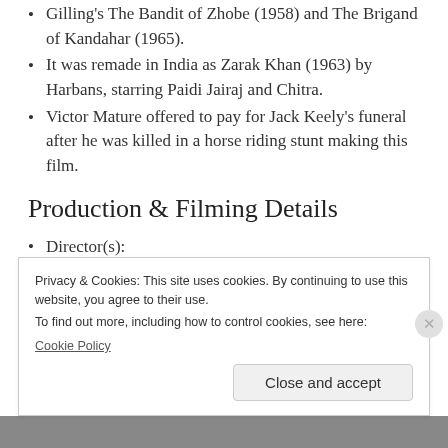Gilling's The Bandit of Zhobe (1958) and The Brigand of Kandahar (1965).
It was remade in India as Zarak Khan (1963) by Harbans, starring Paidi Jairaj and Chitra.
Victor Mature offered to pay for Jack Keely's funeral after he was killed in a horse riding stunt making this film.
Production & Filming Details
Director(s):
Terence Young.
Privacy & Cookies: This site uses cookies. By continuing to use this website, you agree to their use.
To find out more, including how to control cookies, see here:
Cookie Policy
Close and accept